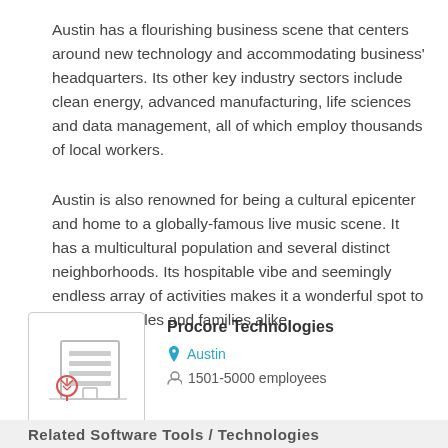Austin has a flourishing business scene that centers around new technology and accommodating business' headquarters. Its other key industry sectors include clean energy, advanced manufacturing, life sciences and data management, all of which employ thousands of local workers.
Austin is also renowned for being a cultural epicenter and home to a globally-famous live music scene. It has a multicultural population and several distinct neighborhoods. Its hospitable vibe and seemingly endless array of activities makes it a wonderful spot to settle for singles and families alike.
[Figure (logo): Procore Technologies company logo icon showing a building with horizontal lines and a tree/plant icon in red]
Procore Technologies
Austin
1501-5000 employees
Related Software Tools / Technologies